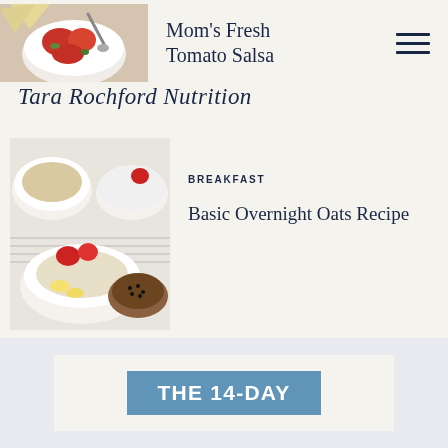[Figure (photo): Overhead photo of fresh tomato salsa in a white bowl with chips]
Mom's Fresh Tomato Salsa
[Figure (illustration): Hamburger menu icon with three horizontal lines]
Tara Rochford Nutrition
[Figure (photo): Overhead photo of overnight oats in white bowls with strawberries, banana slices, and chia seeds on a striped cloth]
BREAKFAST
Basic Overnight Oats Recipe
[Figure (photo): Bottom banner with light blue/gray background partially showing a blue box with text THE 14-DAY]
THE 14-DAY